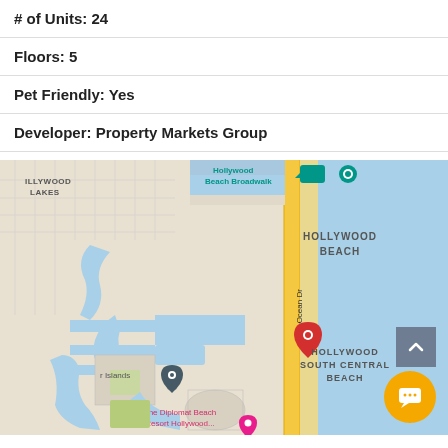# of Units: 24
Floors: 5
Pet Friendly: Yes
Developer: Property Markets Group
[Figure (map): Google Maps showing Hollywood Beach area in Florida. Red pin marker on S Ocean Dr in Hollywood South Central Beach area. Dark pin marker near r Islands label. Shows Hollywood Beach, Hollywood South Central Beach labels, Hollywood Beach Broadwalk marker, The Diplomat Beach Resort Hollywood label, and body of water (Atlantic Ocean) to the east.]